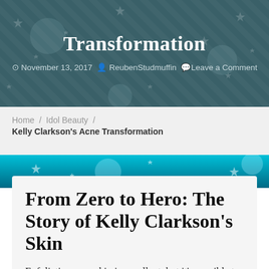Transformation
November 13, 2017  ReubenStudmuffin  Leave a Comment
Home / Idol Beauty / Kelly Clarkson's Acne Transformation
From Zero to Hero: The Story of Kelly Clarkson's Skin
Exfoliating your skin is excellent, but it's possible to overdo this, and your skin is going to inform you in